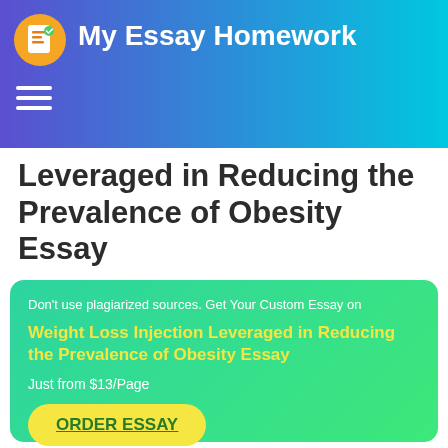My Essay Homework
Leveraged in Reducing the Prevalence of Obesity Essay
Don't use plagiarized sources. Get Your Custom Essay on
Weight Loss Injection Leveraged in Reducing the Prevalence of Obesity Essay
Just from $13/Page
ORDER ESSAY